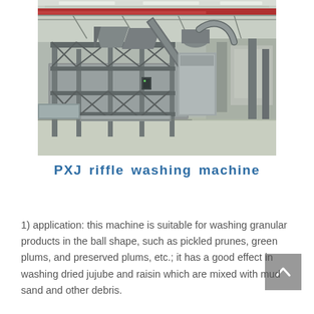[Figure (photo): Industrial photograph of a PXJ riffle washing machine inside a large factory/warehouse. The machine is large stainless steel equipment with conveyor systems, hoppers, and frames. The facility has high ceilings with red overhead crane rails visible.]
PXJ riffle washing machine
1) application: this machine is suitable for washing granular products in the ball shape, such as pickled prunes, green plums, and preserved plums, etc.; it has a good effect in washing dried jujube and raisin which are mixed with mud sand and other debris.